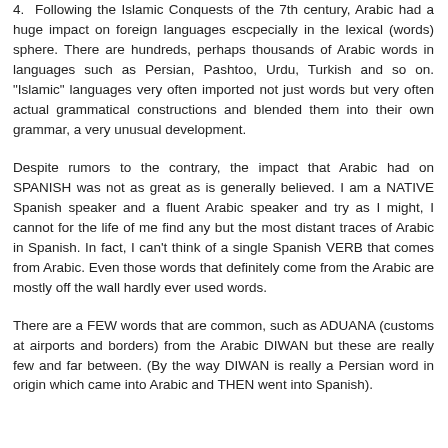4. Following the Islamic Conquests of the 7th century, Arabic had a huge impact on foreign languages escpecially in the lexical (words) sphere. There are hundreds, perhaps thousands of Arabic words in languages such as Persian, Pashtoo, Urdu, Turkish and so on. "Islamic" languages very often imported not just words but very often actual grammatical constructions and blended them into their own grammar, a very unusual development.
Despite rumors to the contrary, the impact that Arabic had on SPANISH was not as great as is generally believed. I am a NATIVE Spanish speaker and a fluent Arabic speaker and try as I might, I cannot for the life of me find any but the most distant traces of Arabic in Spanish. In fact, I can't think of a single Spanish VERB that comes from Arabic. Even those words that definitely come from the Arabic are mostly off the wall hardly ever used words.
There are a FEW words that are common, such as ADUANA (customs at airports and borders) from the Arabic DIWAN but these are really few and far between. (By the way DIWAN is really a Persian word in origin which came into Arabic and THEN went into Spanish).